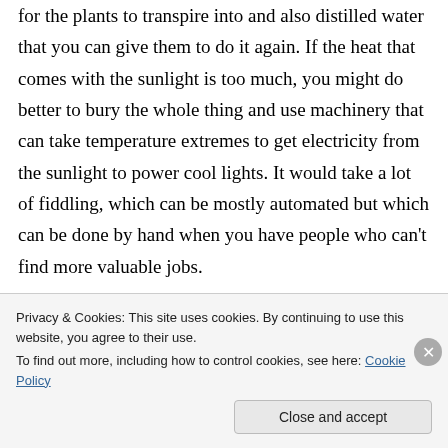for the plants to transpire into and also distilled water that you can give them to do it again. If the heat that comes with the sunlight is too much, you might do better to bury the whole thing and use machinery that can take temperature extremes to get electricity from the sunlight to power cool lights. It would take a lot of fiddling, which can be mostly automated but which can be done by hand when you have people who can't find more valuable jobs.
Get something like that working as a marginal...
Privacy & Cookies: This site uses cookies. By continuing to use this website, you agree to their use.
To find out more, including how to control cookies, see here: Cookie Policy